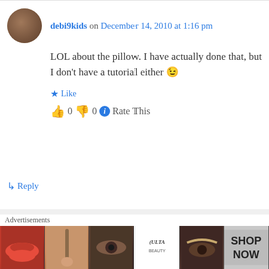debi9kids on December 14, 2010 at 1:16 pm
LOL about the pillow. I have actually done that, but I don't have a tutorial either 😉
★ Like
👍 0 👎 0 ℹ Rate This
↳ Reply
CoolMama on December 14, 2010 at 4:25 pm
Oh, you totally need to get your tutorial on
Advertisements
[Figure (screenshot): Advertisement banner showing ULTA beauty products with lips, brush, eye, logo, eyebrows, and SHOP NOW text]